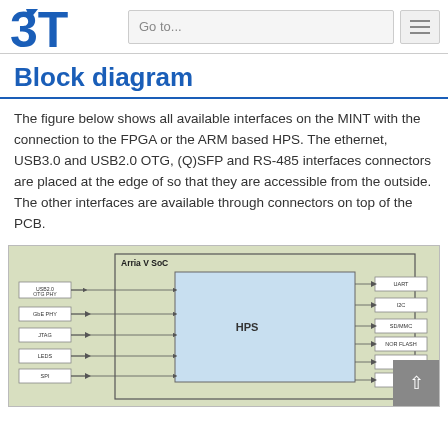Go to...
Block diagram
The figure below shows all available interfaces on the MINT with the connection to the FPGA or the ARM based HPS. The ethernet, USB3.0 and USB2.0 OTG, (Q)SFP and RS-485 interfaces connectors are placed at the edge of so that they are accessible from the outside. The other interfaces are available through connectors on top of the PCB.
[Figure (schematic): Block diagram of the Arria V SoC showing connections between HPS block and peripheral interfaces including USB2.0 OTG PHY, GbE PHY, JTAG, LEDS, SPI on the left side, and UART, I2C, SD/MMC, NOR FLASH, DDR3, GPIO on the right side. Lower section shows FPGA block with QSFP, SFP and other connectors, plus ARCI-MUX and On-board EEPROM blocks.]